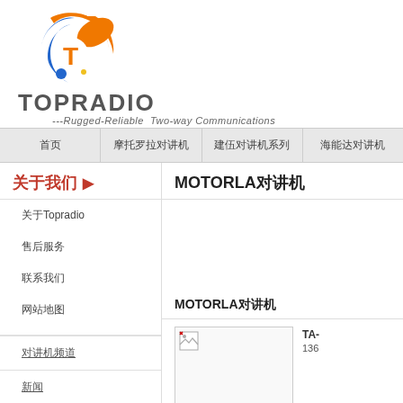[Figure (logo): TOPRADIO company logo with orange/blue circular T icon and company name]
---Rugged-Reliable  Two-way Communications
首页 | 摩托罗拉对讲机 | 建伍对讲机系列 | 海能达对讲机
关于我们 ▶
关于Topradio
售后服务
联系我们
网站地图
对讲机频道
新闻
首页
MOTORLA对讲机
MOTORLA对讲机
[Figure (photo): Product image placeholder (broken image icon) for MOTOROLA radio]
TA-
136